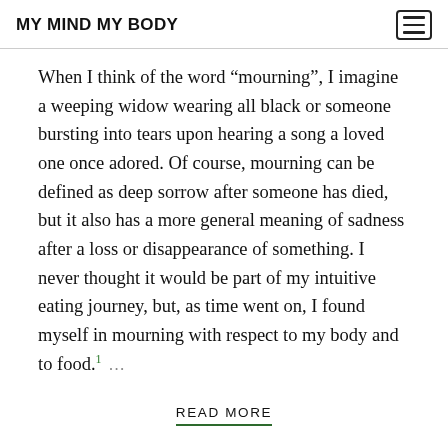MY MIND MY BODY
When I think of the word “mourning”, I imagine a weeping widow wearing all black or someone bursting into tears upon hearing a song a loved one once adored. Of course, mourning can be defined as deep sorrow after someone has died, but it also has a more general meaning of sadness after a loss or disappearance of something. I never thought it would be part of my intuitive eating journey, but, as time went on, I found myself in mourning with respect to my body and to food.¹ …
READ MORE